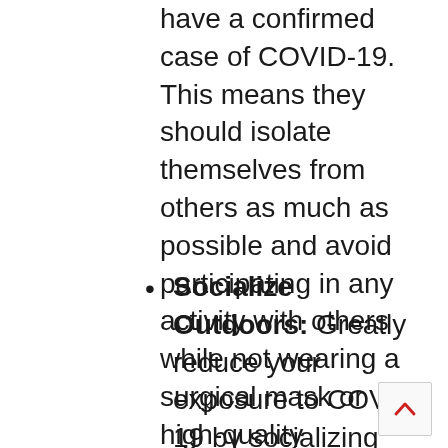have a confirmed case of COVID-19. This means they should isolate themselves from others as much as possible and avoid participating in any activity with others while not wearing a surgical mask or high-quality respirator.
Socialize Outdoors: Greatly reduce your exposure to COVID-19 by socializing outdoors. The Hilton New Orleans Riverside Hotel is located on the banks of the Mississippi River and has ample outdoor seating and promenade space. We strongly